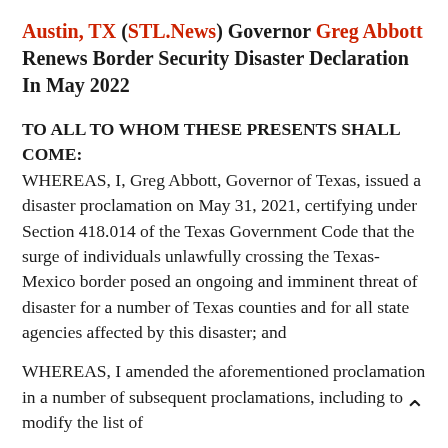Austin, TX (STL.News) Governor Greg Abbott Renews Border Security Disaster Declaration In May 2022
TO ALL TO WHOM THESE PRESENTS SHALL COME:
WHEREAS, I, Greg Abbott, Governor of Texas, issued a disaster proclamation on May 31, 2021, certifying under Section 418.014 of the Texas Government Code that the surge of individuals unlawfully crossing the Texas-Mexico border posed an ongoing and imminent threat of disaster for a number of Texas counties and for all state agencies affected by this disaster; and
WHEREAS, I amended the aforementioned proclamation in a number of subsequent proclamations, including to modify the list of